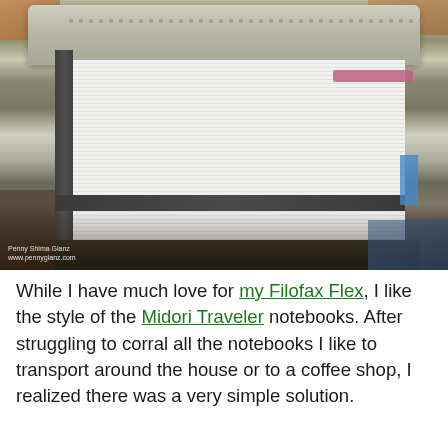[Figure (photo): A photo of a stacked collection of notebooks held together inside a gray/silver leather Filofax Flex cover, sitting on a wooden table. The notebooks are visible from the side showing their pages and spine. A small watermark reads 'Penny Shima Glanz' and a website URL.]
While I have much love for my Filofax Flex, I like the style of the Midori Traveler notebooks. After struggling to corral all the notebooks I like to transport around the house or to a coffee shop, I realized there was a very simple solution.